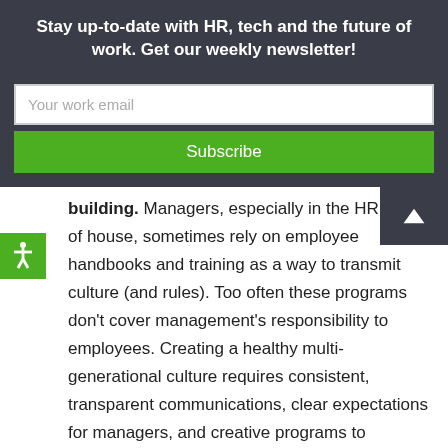Stay up-to-date with HR, tech and the future of work. Get our weekly newsletter!
Your work email
Subscribe
building. Managers, especially in the HR side of house, sometimes rely on employee handbooks and training as a way to transmit culture (and rules). Too often these programs don't cover management's responsibility to employees. Creating a healthy multi-generational culture requires consistent, transparent communications, clear expectations for managers, and creative programs to encourage learning and peaceful co-existence among employees of all ages. Valve gets a shout-out for its guide to company culture!